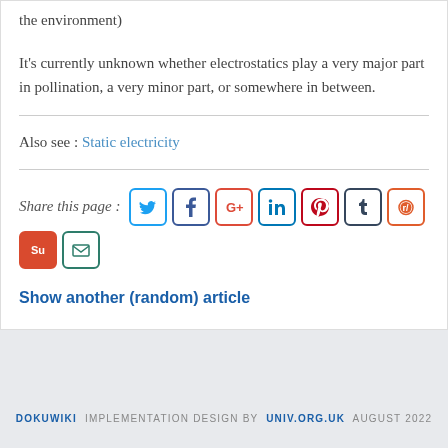the environment)
It's currently unknown whether electrostatics play a very major part in pollination, a very minor part, or somewhere in between.
Also see : Static electricity
Share this page :
Show another (random) article
DOKUWIKI IMPLEMENTATION DESIGN BY UNIV.ORG.UK AUGUST 2022